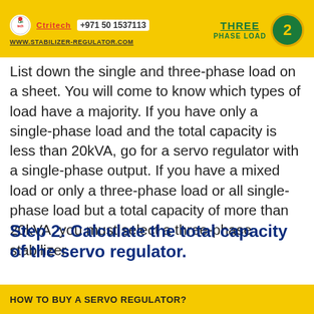[Figure (infographic): Yellow header banner with Ctritech logo, phone number +971 50 1537113, website www.stabilizer-regulator.com on the left, and 'THREE PHASE LOAD' label with green badge number 2 on the right]
List down the single and three-phase load on a sheet. You will come to know which types of load have a majority. If you have only a single-phase load and the total capacity is less than 20kVA, go for a servo regulator with a single-phase output. If you have a mixed load or only a three-phase load or all single-phase load but a total capacity of more than 20kVA, you must select a three-phase stabilizer.
Step 2: Calculate the total capacity of the servo regulator.
HOW TO BUY A SERVO REGULATOR?